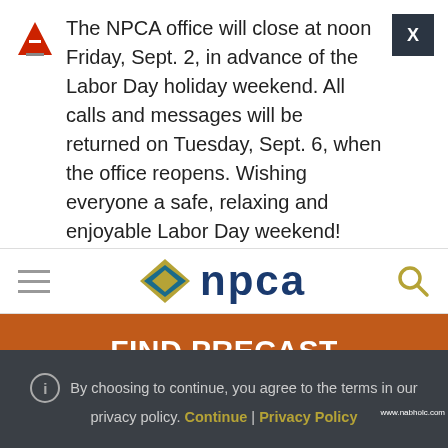The NPCA office will close at noon Friday, Sept. 2, in advance of the Labor Day holiday weekend. All calls and messages will be returned on Tuesday, Sept. 6, when the office reopens. Wishing everyone a safe, relaxing and enjoyable Labor Day weekend!
[Figure (logo): NPCA logo with diamond/chevron icon in gold and teal, and NPCA text in dark blue]
FIND PRECAST PRODUCTS & SUPPLIES
controlled
By choosing to continue, you agree to the terms in our privacy policy. Continue | Privacy Policy